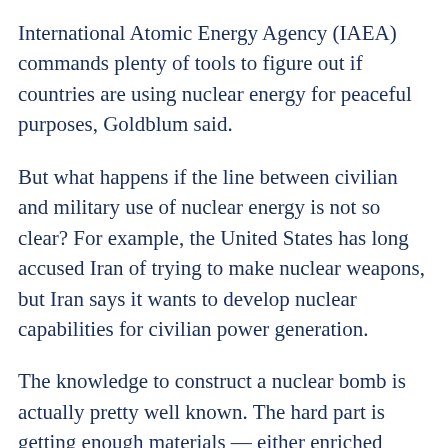International Atomic Energy Agency (IAEA) commands plenty of tools to figure out if countries are using nuclear energy for peaceful purposes, Goldblum said.
But what happens if the line between civilian and military use of nuclear energy is not so clear? For example, the United States has long accused Iran of trying to make nuclear weapons, but Iran says it wants to develop nuclear capabilities for civilian power generation.
The knowledge to construct a nuclear bomb is actually pretty well known. The hard part is getting enough materials — either enriched uranium or plutonium — to fuel the weapon. A country can reprocess the spent fuel from a civilian nuclear reactor and extract plutonium for a weapon. And a nuclear bomb only requires about 10 kilograms of plutonium.